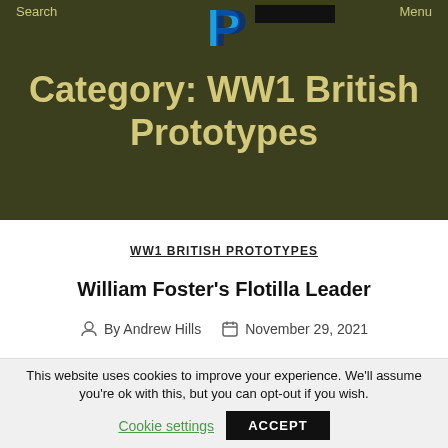Search   Menu
Category: WW1 British Prototypes
WW1 BRITISH PROTOTYPES
William Foster's Flotilla Leader
By Andrew Hills   November 29, 2021
This website uses cookies to improve your experience. We'll assume you're ok with this, but you can opt-out if you wish.
Cookie settings   ACCEPT